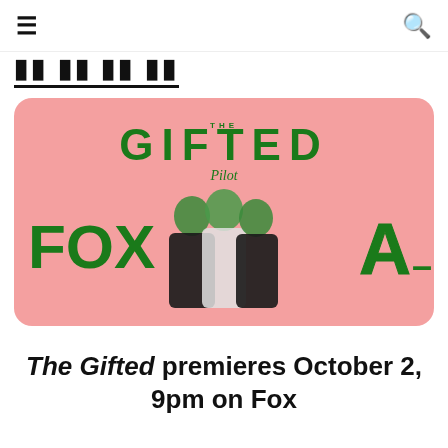≡  [site logo]  🔍
[Figure (illustration): Promotional image for 'The Gifted' TV show pilot on Fox. Pink background with green-tinted cast photo of three actors. Shows 'THE GIFTED Pilot' logo in green text at top center, 'FOX' in large green letters on left, and 'A-' grade in large green letters on right.]
The Gifted premieres October 2, 9pm on Fox